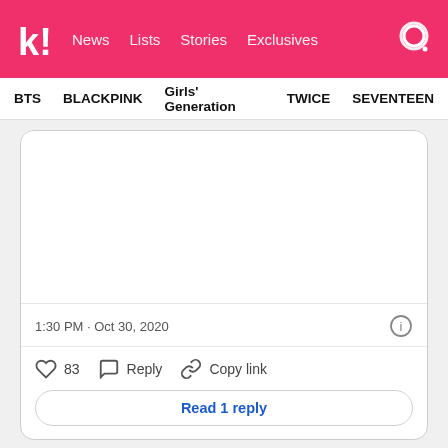koreaboo! News   Lists   Stories   Exclusives
BTS   BLACKPINK   Girls' Generation   TWICE   SEVENTEEN
[Figure (screenshot): Embedded social media post image area (blank/white)]
1:30 PM · Oct 30, 2020
83   Reply   Copy link
Read 1 reply